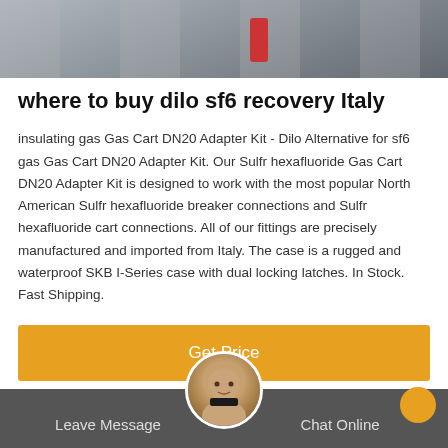[Figure (photo): Top portion of an industrial photo showing pipes and equipment, partially cropped]
where to buy dilo sf6 recovery Italy
insulating gas Gas Cart DN20 Adapter Kit - Dilo Alternative for sf6 gas Gas Cart DN20 Adapter Kit. Our Sulfr hexafluoride Gas Cart DN20 Adapter Kit is designed to work with the most popular North American Sulfr hexafluoride breaker connections and Sulfr hexafluoride cart connections. All of our fittings are precisely manufactured and imported from Italy. The case is a rugged and waterproof SKB I-Series case with dual locking latches. In Stock. Fast Shipping.
[Figure (other): Orange 'Get Price' button]
Leave Message   Chat Online